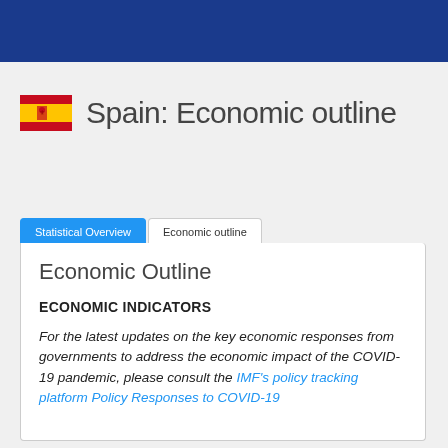Spain: Economic outline
Statistical Overview | Economic outline
Economic Outline
ECONOMIC INDICATORS
For the latest updates on the key economic responses from governments to address the economic impact of the COVID-19 pandemic, please consult the IMF's policy tracking platform Policy Responses to COVID-19